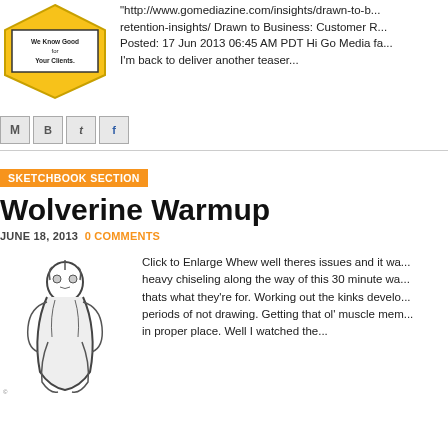[Figure (illustration): Yellow shield logo with text 'We Know Good for Your Clients']
http://www.gomediazine.com/insights/drawn-to-business-customer-retention-insights/ Drawn to Business: Customer R... Posted: 17 Jun 2013 06:45 AM PDT Hi Go Media fa... I'm back to deliver another teaser...
[Figure (other): Share buttons: Email (M), BlogThis (B), Twitter (t), Facebook (f)]
SKETCHBOOK SECTION
Wolverine Warmup
JUNE 18, 2013 0 COMMENTS
[Figure (illustration): Black and white sketch illustration of Wolverine in a crouching action pose]
Click to Enlarge Whew well theres issues and it wa... heavy chiseling along the way of this 30 minute wa... thats what they're for. Working out the kinks develo... periods of not drawing. Getting that ol' muscle mem... in proper place. Well I watched the...